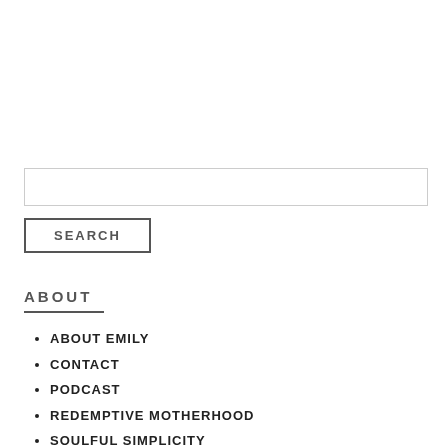SEARCH
ABOUT
ABOUT EMILY
CONTACT
PODCAST
REDEMPTIVE MOTHERHOOD
SOULFUL SIMPLICITY